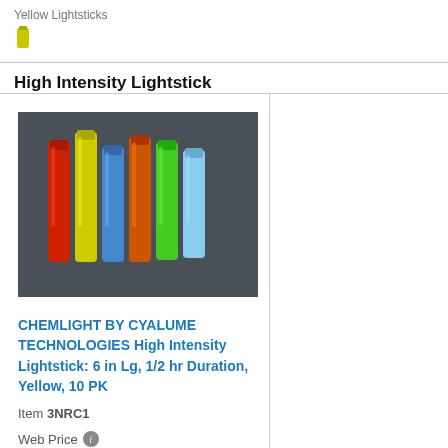Yellow Lightsticks
[Figure (illustration): Small yellow lightstick icon]
High Intensity Lightstick
[Figure (photo): Photo of multiple colorful lightsticks (red, yellow, blue, orange, green, light blue) standing upright on a dark surface]
CHEMLIGHT BY CYALUME TECHNOLOGIES High Intensity Lightstick: 6 in Lg, 1/2 hr Duration, Yellow, 10 PK
Item 3NRC1
Web Price
$35.11